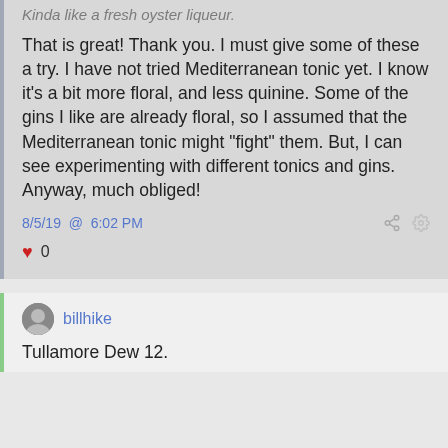Kinda like a fresh oyster liqueur.
That is great!  Thank you.  I must give some of these a try.  I have not tried Mediterranean tonic yet.  I know it's a bit more floral, and less quinine. Some of the gins I like are already floral, so I assumed that the Mediterranean tonic might "fight" them. But, I can see experimenting with different tonics and gins.  Anyway, much obliged!
8/5/19 @ 6:02 PM
0
billhike
Tullamore Dew 12.